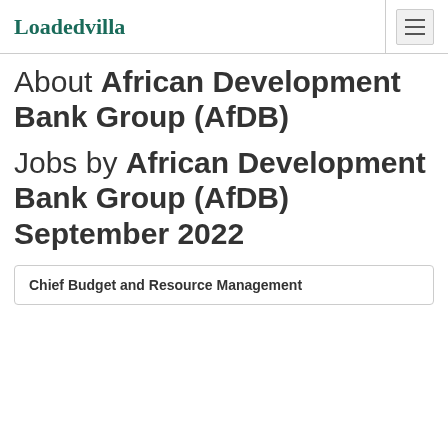Loadedvilla
About African Development Bank Group (AfDB)
Jobs by African Development Bank Group (AfDB) September 2022
Chief Budget and Resource Management